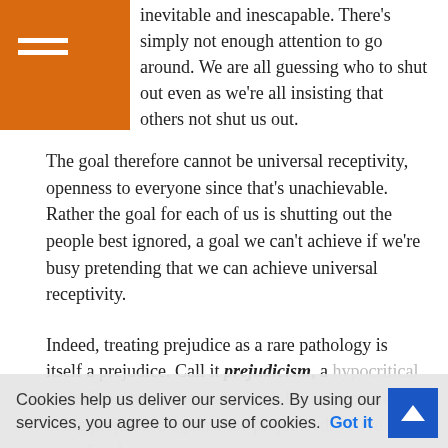inevitable and inescapable. There's simply not enough attention to go around. We are all guessing who to shut out even as we're all insisting that others not shut us out.
The goal therefore cannot be universal receptivity, openness to everyone since that's unachievable. Rather the goal for each of us is shutting out the people best ignored, a goal we can't achieve if we're busy pretending that we can achieve universal receptivity.
Indeed, treating prejudice as a rare pathology is itself a prejudice. Call it prejudicism, a hypocritical prejudice against the prejudiced. If you're proud of being prejudiced against the prejudiced, you're prejudiced.
Cookies help us deliver our services. By using our services, you agree to our use of cookies. Got it